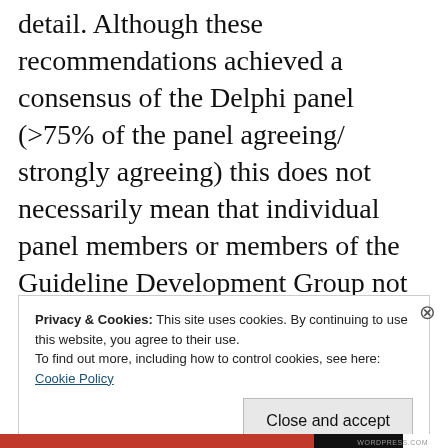detail. Although these recommendations achieved a consensus of the Delphi panel (>75% of the panel agreeing/ strongly agreeing) this does not necessarily mean that individual panel members or members of the Guideline Development Group not on the panel personally agree with the consensus recommendations. Overall some of the strongest evidence
Privacy & Cookies: This site uses cookies. By continuing to use this website, you agree to their use.
To find out more, including how to control cookies, see here:
Cookie Policy

Close and accept